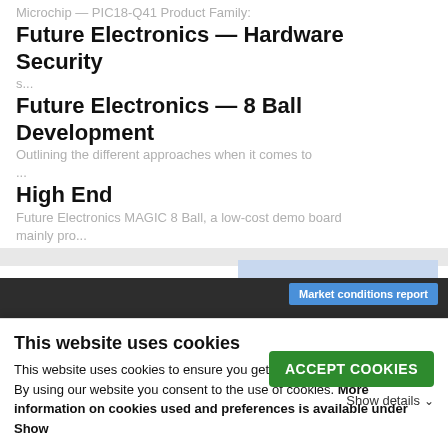Microchip — PIC18-Q41 Product Family: [faded]
Future Electronics — Hardware Security
s... [faded]
Future Electronics — 8 Ball Development
Outlining the different approaches when it comes to ... [faded]
High End
Future Electronics MAGIC 8 Ball, a low-cost demo board mainly pro... [faded]
[Figure (screenshot): Dark navigation bar with a blue 'Market conditions report' button on the right side]
8 Bit Microcontrollers
This website uses cookies
This website uses cookies to ensure you get the best online experience. By using our website you consent to the use of cookies. More information on cookies used and preferences is available under Show